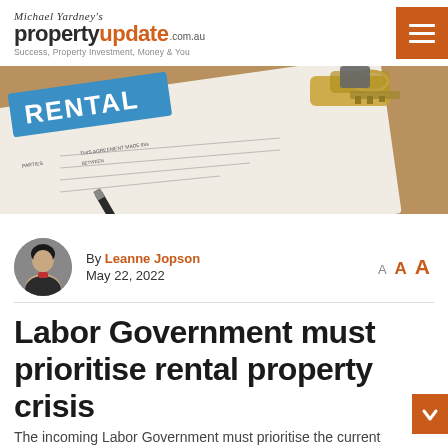Michael Yardney's propertyupdate.com.au — Success, Property Investment, Money & You
[Figure (photo): Hero image of a rental agreement document with keys and a pen on top]
By Leanne Jopson
May 22, 2022
Labor Government must prioritise rental property crisis
The incoming Labor Government must prioritise the current